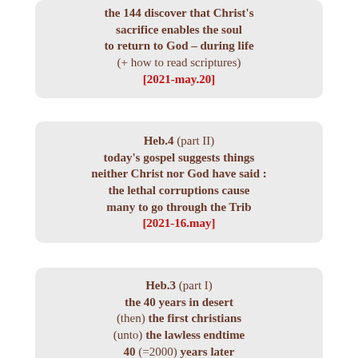the 144 discover that Christ's sacrifice enables the soul to return to God – during life (+ how to read scriptures) [2021-may.20]
Heb.4 (part II) today's gospel suggests things neither Christ nor God have said : the lethal corruptions cause many to go through the Trib [2021-16.may]
Heb.3 (part I) the 40 years in desert (then) the first christians (unto) the lawless endtime 40 (=2000) years later [2021-14.may]